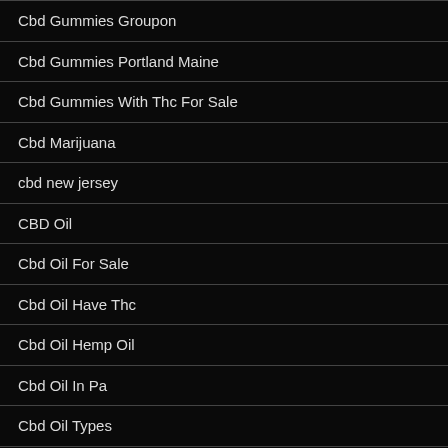Cbd Gummies Groupon
Cbd Gummies Portland Maine
Cbd Gummies With Thc For Sale
Cbd Marijuana
cbd new jersey
CBD Oil
Cbd Oil For Sale
Cbd Oil Have Thc
Cbd Oil Hemp Oil
Cbd Oil In Pa
Cbd Oil Types
Cbd Oil With Thc For Sale